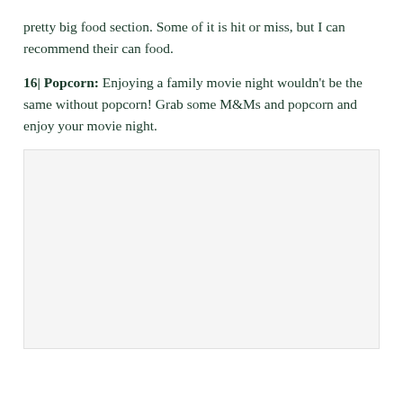pretty big food section. Some of it is hit or miss, but I can recommend their can food.
16| Popcorn: Enjoying a family movie night wouldn't be the same without popcorn! Grab some M&Ms and popcorn and enjoy your movie night.
[Figure (photo): A light gray placeholder image area, likely for a photo related to popcorn or movie night.]